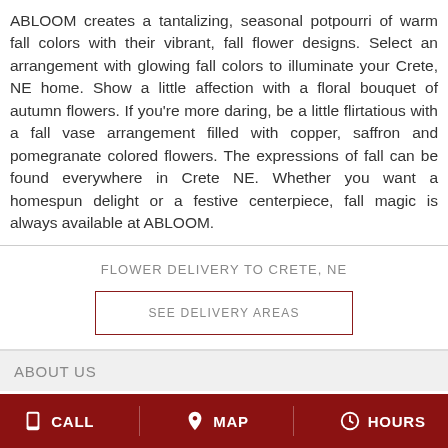ABLOOM creates a tantalizing, seasonal potpourri of warm fall colors with their vibrant, fall flower designs. Select an arrangement with glowing fall colors to illuminate your Crete, NE home. Show a little affection with a floral bouquet of autumn flowers. If you're more daring, be a little flirtatious with a fall vase arrangement filled with copper, saffron and pomegranate colored flowers. The expressions of fall can be found everywhere in Crete NE. Whether you want a homespun delight or a festive centerpiece, fall magic is always available at ABLOOM.
FLOWER DELIVERY TO CRETE, NE
SEE DELIVERY AREAS
ABOUT US
CALL  MAP  HOURS